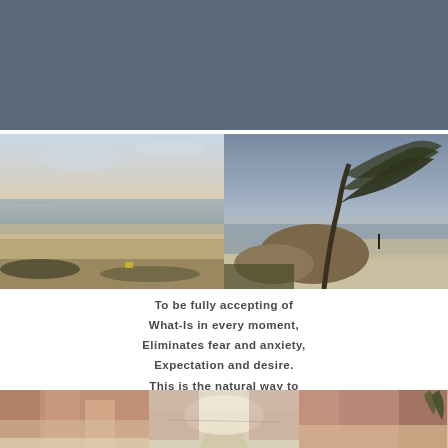[Figure (photo): Two narrow horizontal strip photos at top of page showing dark outdoor scenes]
[Figure (photo): Left photo: beach at dawn with calm water, sandy shore, and seaweed in foreground]
[Figure (photo): Right photo: windswept tree bent by strong wind on a rocky coastal cliff with beach and ocean in background at dusk]
To be fully accepting of
What-Is in every moment,
Eliminates fear and anxiety,
Expectation and desire.
This is the natural way to
Set things right.
Wu Hsin
[Figure (photo): Bottom panoramic photo showing ruins or construction sites with reddish walls and sandy path between structures]